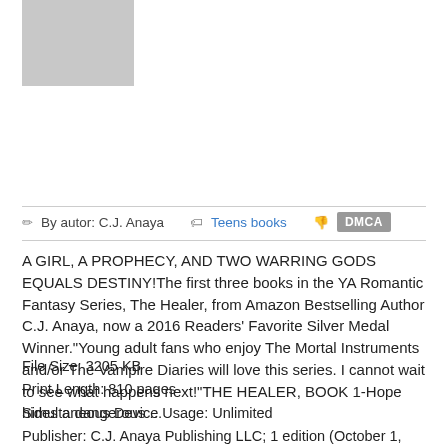[Figure (photo): Gray placeholder rectangle representing a book cover image]
✏ By autor: C.J. Anaya  🏷 Teens books  👎  DMCA
A GIRL, A PROPHECY, AND TWO WARRING GODS EQUALS DESTINY!The first three books in the YA Romantic Fantasy Series, The Healer, from Amazon Bestselling Author C.J. Anaya, now a 2016 Readers' Favorite Silver Medal Winner."Young adult fans who enjoy The Mortal Instruments and/or The Vampire Diaries will love this series. I cannot wait to see what happens next!"THE HEALER, BOOK 1-Hope hides a dangerous ...
File Size: 3205 KB
Print Length: 810 pages
Simultaneous Device Usage: Unlimited
Publisher: C.J. Anaya Publishing LLC; 1 edition (October 1, 2016)
Publication Date: October 1, 2016
Sold by: Amazon Digital Services LLC
Language: English